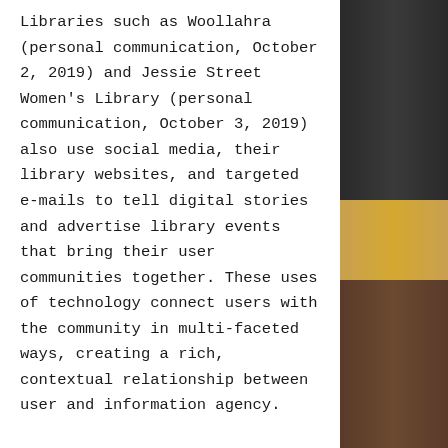Libraries such as Woollahra (personal communication, October 2, 2019) and Jessie Street Women's Library (personal communication, October 3, 2019) also use social media, their library websites, and targeted e-mails to tell digital stories and advertise library events that bring their user communities together. These uses of technology connect users with the community in multi-faceted ways, creating a rich, contextual relationship between user and information agency.
Therefore, through the experiences of information agencies participating in the